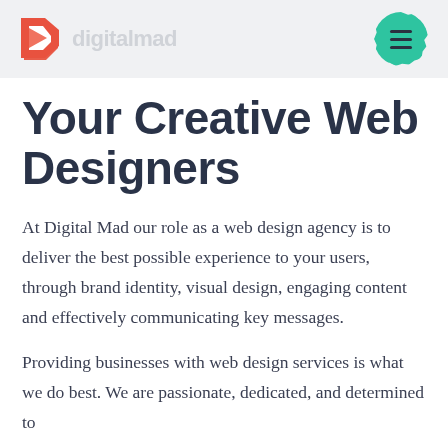digitalmad
Your Creative Web Designers
At Digital Mad our role as a web design agency is to deliver the best possible experience to your users, through brand identity, visual design, engaging content and effectively communicating key messages.
Providing businesses with web design services is what we do best. We are passionate, dedicated, and determined to